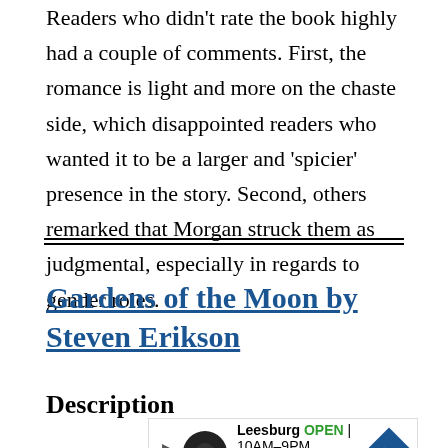Readers who didn't rate the book highly had a couple of comments. First, the romance is light and more on the chaste side, which disappointed readers who wanted it to be a larger and 'spicier' presence in the story. Second, others remarked that Morgan struck them as judgmental, especially in regards to gender roles.
Gardens of the Moon by Steven Erikson
Description
[Figure (other): Advertisement banner for Leesburg business showing logo, 'Leesburg OPEN 10AM-9PM', '241 Fort Evans Rd NE, Leesburg', navigation arrow icon]